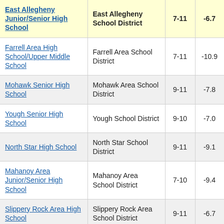| School | District | Grades | Score |  |
| --- | --- | --- | --- | --- |
| East Allegheny Junior/Senior High School | East Allegheny School District | 7-11 | -6.7 | 3 |
| Farrell Area High School/Upper Middle School | Farrell Area School District | 7-11 | -10.9 |  |
| Mohawk Senior High School | Mohawk Area School District | 9-11 | -7.8 |  |
| Yough Senior High School | Yough School District | 9-10 | -7.0 |  |
| North Star High School | North Star School District | 9-11 | -9.1 |  |
| Mahanoy Area Junior/Senior High School | Mahanoy Area School District | 7-10 | -9.4 |  |
| Slippery Rock Area High School | Slippery Rock Area School District | 9-11 | -6.7 |  |